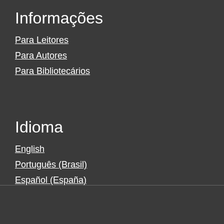Informações
Para Leitores
Para Autores
Para Bibliotecários
Idioma
English
Português (Brasil)
Español (España)
Apoio:
[Figure (logo): Logo with red circle and two green squares]